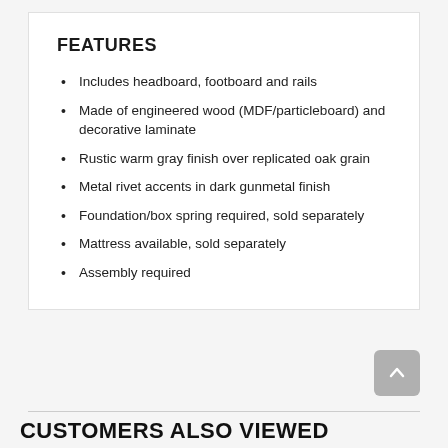FEATURES
Includes headboard, footboard and rails
Made of engineered wood (MDF/particleboard) and decorative laminate
Rustic warm gray finish over replicated oak grain
Metal rivet accents in dark gunmetal finish
Foundation/box spring required, sold separately
Mattress available, sold separately
Assembly required
CUSTOMERS ALSO VIEWED